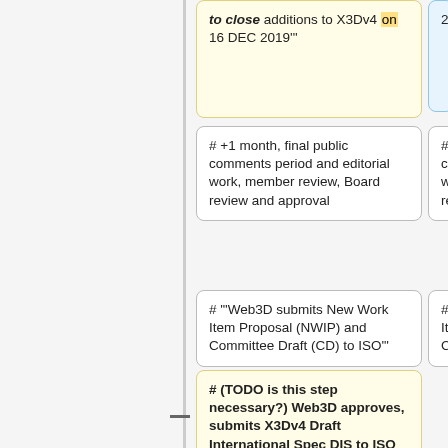# to close additions to X3Dv4 on 16 DEC 2019'"
2019
# +1 month, final public comments period and editorial work, member review, Board review and approval
# +1 month, final public comments period and editorial work, member review, Board review and approval
# '"Web3D submits New Work Item Proposal (NWIP) and Committee Draft (CD) to ISO'"
# '"Web3D submits New Work Item Proposal (NWIP) and Committee Draft (CD) to ISO'"
# (TODO is this step necessary?) Web3D approves, submits X3Dv4 Draft International Spec DIS to ISO at Web3D 2020
# ISO dates/deadline for
# ISO dates/deadline for